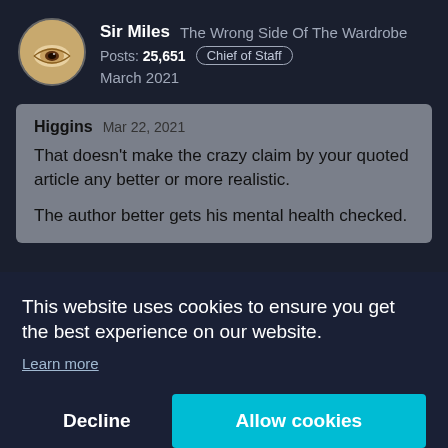Sir Miles  The Wrong Side Of The Wardrobe
Posts: 25,651  Chief of Staff
March 2021
Higgins  Mar 22, 2021
That doesn't make the crazy claim by your quoted article any better or more realistic.
The author better gets his mental health checked.
This website uses cookies to ensure you get the best experience on our website.
Learn more
Decline  Allow cookies
Recommend that you check your sources a bit before